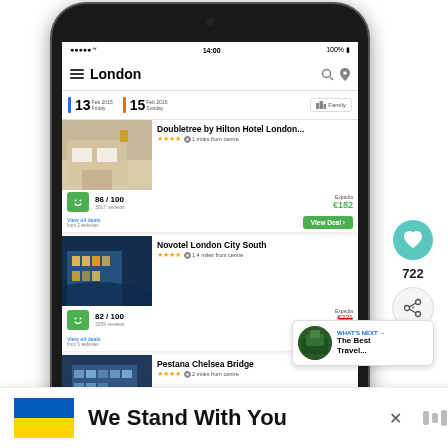[Figure (screenshot): Smartphone screenshot of a hotel comparison app showing London hotel search results for 13-15 Feb 2015. Hotels listed: Doubletree by Hilton Hotel London (86/100, Expedia €182), Novotel London City South (82/100, Expedia €221/€158), Pestana Chelsea Bridge (85/100, HotelPromo €252/€171), Novotel London Paddington (85/100, Hotels.com €157). Social sidebar shows heart icon with 722 likes and share icon. 'What's Next' overlay shows 'The Best Travel...' card.]
We Stand With You